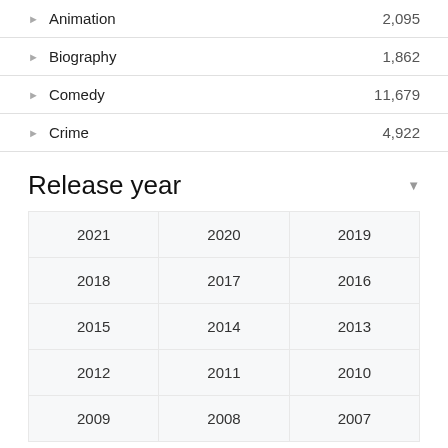Animation 2,095
Biography 1,862
Comedy 11,679
Crime 4,922
Release year
| 2021 | 2020 | 2019 |
| 2018 | 2017 | 2016 |
| 2015 | 2014 | 2013 |
| 2012 | 2011 | 2010 |
| 2009 | 2008 | 2007 |
Trending